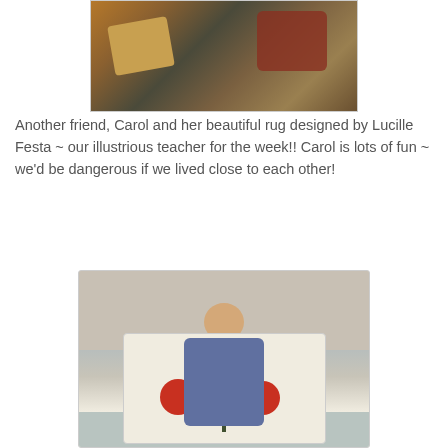[Figure (photo): A photo of craft supplies and rug hooking materials on a table, partially cropped at the top of the page]
Another friend, Carol and her beautiful rug designed by Lucille Festa ~ our illustrious teacher for the week!! Carol is lots of fun ~ we'd be dangerous if we lived close to each other!
[Figure (photo): A woman named Carol smiling and holding up a large white rug with a floral design featuring red poppies and green stems/leaves, designed by Lucille Festa, standing in what appears to be a community room or classroom]